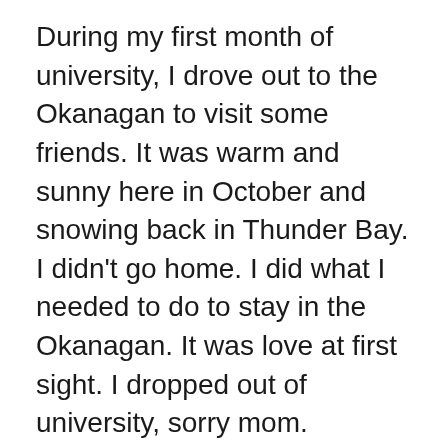During my first month of university, I drove out to the Okanagan to visit some friends. It was warm and sunny here in October and snowing back in Thunder Bay. I didn't go home. I did what I needed to do to stay in the Okanagan. It was love at first sight. I dropped out of university, sorry mom.
After a failed attempt at franchising a pizza restaurant (too much work), my partner and I were presented an opportunity to open a duct cleaning franchise. I hated the idea and fought it for months.
Finally we opened the franchise and relocated to the South Okanagan. I wasn't really involved with the company right away but come to think it...